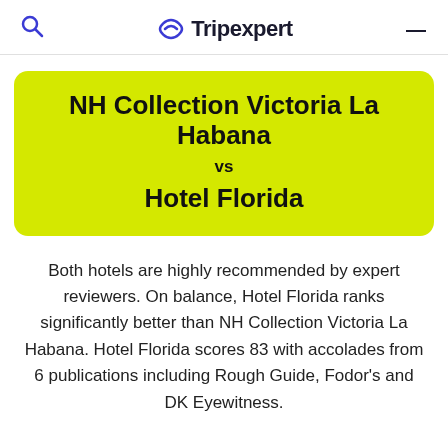Tripexpert
NH Collection Victoria La Habana vs Hotel Florida
Both hotels are highly recommended by expert reviewers. On balance, Hotel Florida ranks significantly better than NH Collection Victoria La Habana. Hotel Florida scores 83 with accolades from 6 publications including Rough Guide, Fodor's and DK Eyewitness.